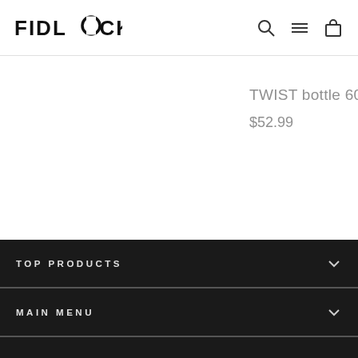FIDLOCK
TWIST bottle 600
$52.99
TOP PRODUCTS
MAIN MENU